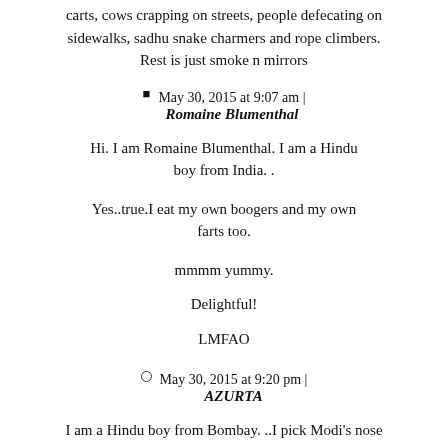carts, cows crapping on streets, people defecating on sidewalks, sadhu snake charmers and rope climbers. Rest is just smoke n mirrors
May 30, 2015 at 9:07 am | Romaine Blumenthal
Hi. I am Romaine Blumenthal. I am a Hindu boy from India. .
Yes..true.I eat my own boogers and my own farts too.
mmmm yummy.
Delightful!
LMFAO
May 30, 2015 at 9:20 pm | AZURTA
I am a Hindu boy from Bombay. ..I pick Modi's nose and eat his moist salty gooey boogers. ..LMFAO!
I ♡ rupert